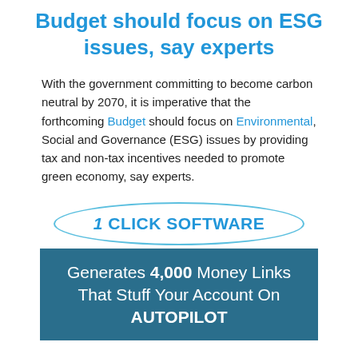Budget should focus on ESG issues, say experts
With the government committing to become carbon neutral by 2070, it is imperative that the forthcoming Budget should focus on Environmental, Social and Governance (ESG) issues by providing tax and non-tax incentives needed to promote green economy, say experts.
[Figure (logo): 1 CLICK SOFTWARE logo in blue text inside a blue oval/ellipse outline]
[Figure (infographic): Dark teal banner advertisement reading: Generates 4,000 Money Links That Stuff Your Account On AUTOPILOT]